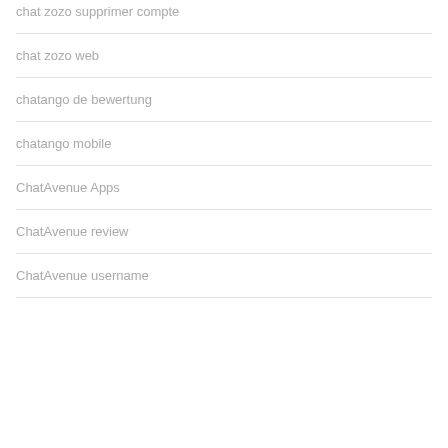chat zozo supprimer compte
chat zozo web
chatango de bewertung
chatango mobile
ChatAvenue Apps
ChatAvenue review
ChatAvenue username